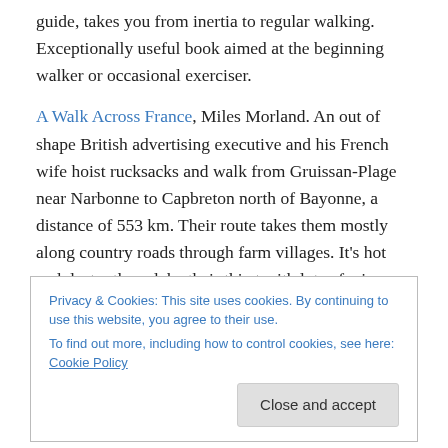guide, takes you from inertia to regular walking. Exceptionally useful book aimed at the beginning walker or occasional exerciser.
A Walk Across France, Miles Morland. An out of shape British advertising executive and his French wife hoist rucksacks and walk from Gruissan-Plage near Narbonne to Capbreton north of Bayonne, a distance of 553 km. Their route takes them mostly along country roads through farm villages. It's hot and dusty; they slake their thirst with lots of wine.
Privacy & Cookies: This site uses cookies. By continuing to use this website, you agree to their use. To find out more, including how to control cookies, see here: Cookie Policy